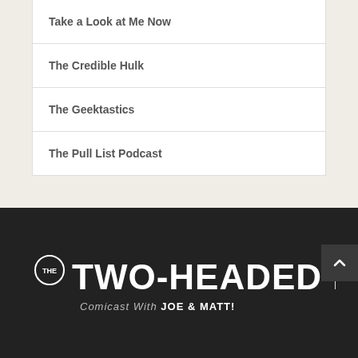Take a Look at Me Now
The Credible Hulk
The Geektastics
The Pull List Podcast
[Figure (logo): The Two-Headed Nerd logo — white text on dark background with circular 'THE' badge, subtitle reads 'Comicast With Joe & Matt!']